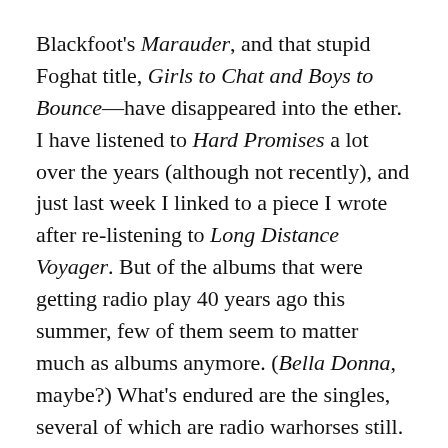Blackfoot's Marauder, and that stupid Foghat title, Girls to Chat and Boys to Bounce—have disappeared into the ether. I have listened to Hard Promises a lot over the years (although not recently), and just last week I linked to a piece I wrote after re-listening to Long Distance Voyager. But of the albums that were getting radio play 40 years ago this summer, few of them seem to matter much as albums anymore. (Bella Donna, maybe?) What's endured are the singles, several of which are radio warhorses still.
I'm not sure what conclusion I might draw to make you think there's been a point to the preceding 700 words. Maybe it's enough to say that if